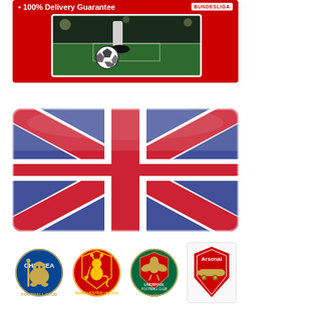[Figure (illustration): Red banner advertisement with '100% Delivery Guarantee' text and Bundesliga badge logo, featuring a soccer ball being kicked on a green field in the center]
[Figure (illustration): Union Jack (UK flag) image with glossy/reflective plastic card appearance, rounded corners, blue and red diagonal and cross stripes on white]
[Figure (illustration): Four English Premier League football club logos in a row: Chelsea FC (blue circular crest), Manchester United (red devil crest), Liverpool FC (green/red bird crest), Arsenal FC (red cannon crest)]